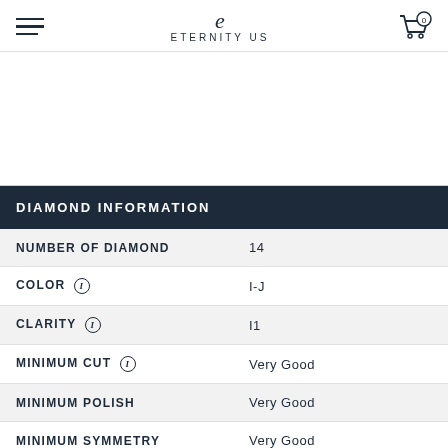ETERNITY US
[Figure (other): Product image area (white/blank)]
DIAMOND INFORMATION
| Attribute | Value |
| --- | --- |
| NUMBER OF DIAMOND | 14 |
| COLOR | I-J |
| CLARITY | I1 |
| MINIMUM CUT | Very Good |
| MINIMUM POLISH | Very Good |
| MINIMUM SYMMETRY | Very Good |
| MINIMUM FLUORESCENCE | Faint |